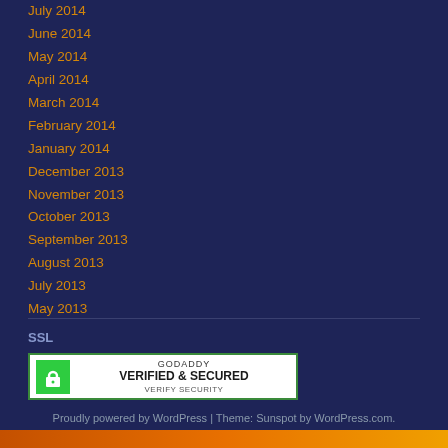July 2014
June 2014
May 2014
April 2014
March 2014
February 2014
January 2014
December 2013
November 2013
October 2013
September 2013
August 2013
July 2013
May 2013
SSL
[Figure (logo): GoDaddy Verified & Secured badge with green lock icon]
Proudly powered by WordPress | Theme: Sunspot by WordPress.com.